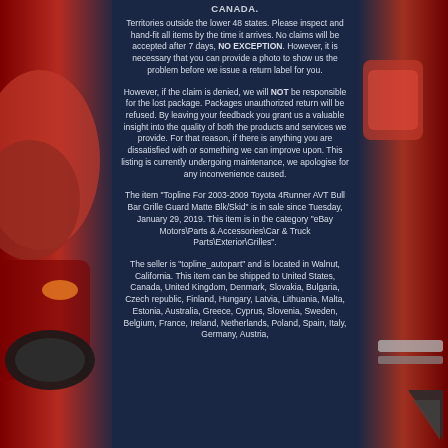CANADA.
Territories outside the lower 48 states. Please inspect and hand-fit all items by the time it arrives. No claims will be accepted after 7 days, NO EXCEPTION. However, it is necessary that you can provide a photo to show us the problem before we issue a return label for you.
However, if the claim is denied, we will NOT be responsible for the lost package. Packages unauthorized return will be refused. By leaving your feedback you grant us a valuable insight into the quality of both the products and services we provide. For that reason, if there is anything you are dissatisfied with or something we can improve upon. This listing is currently undergoing maintenance, we apologise for any inconvenience caused.
The item "Topline For 2003-2009 Toyota 4Runner AVT Bull Bar Grille Guard Matte Blk/Skid" is in sale since Tuesday, January 29, 2019. This item is in the category "eBay Motors\Parts & Accessories\Car & Truck Parts\Exterior\Grilles".
The seller is "topline_autopart" and is located in Walnut, California. This item can be shipped to United States, Canada, United Kingdom, Denmark, Slovakia, Bulgaria, Czech republic, Finland, Hungary, Latvia, Lithuania, Malta, Estonia, Australia, Greece, Cyprus, Slovenia, Sweden, Belgium, France, Ireland, Netherlands, Poland, Spain, Italy, Germany, Austria,